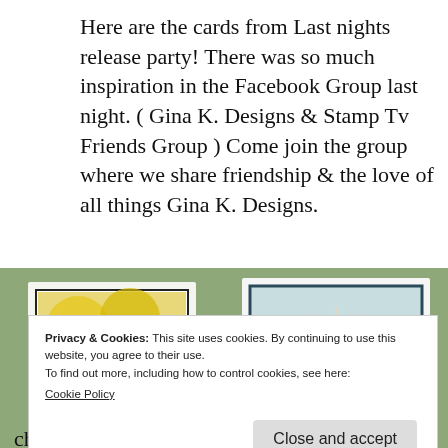Here are the cards from Last nights release party! There was so much inspiration in the Facebook Group last night. ( Gina K. Designs & Stamp Tv Friends Group ) Come join the group where we share friendship & the love of all things Gina K. Designs.
[Figure (photo): Two handmade greeting cards displayed outdoors. Left card shows yellow chrysanthemum flowers with a bee on a black and white plaid background. Right card shows a soft orange flower on a light blue/mint background.]
Privacy & Cookies: This site uses cookies. By continuing to use this website, you agree to their use.
To find out more, including how to control cookies, see here: Cookie Policy
Close and accept
chance to win, all you have to do is leave a